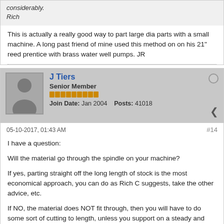considerably.
Rich
This is actually a really good way to part large dia parts with a small machine. A long past friend of mine used this method on on his 21" reed prentice with brass water well pumps. JR
J Tiers
Senior Member
Join Date: Jan 2004  Posts: 41018
05-10-2017, 01:43 AM
#14
I have a question:

Will the material go through the spindle on your machine?

If yes, parting straight off the long length of stock is the most economical approach, you can do as Rich C suggests, take the other advice, etc.

If NO, the material does NOT fit through, then you will have to do some sort of cutting to length, unless you support on a steady and part off outside of that. I have had less than stellar results from that, the steady